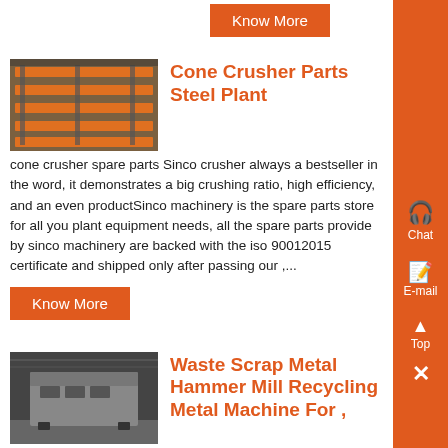Know More
[Figure (photo): Industrial cone crusher parts / steel plant machinery with orange metal racks]
Cone Crusher Parts Steel Plant
cone crusher spare parts Sinco crusher always a bestseller in the word, it demonstrates a big crushing ratio, high efficiency, and an even productSinco machinery is the spare parts store for all you plant equipment needs, all the spare parts provide by sinco machinery are backed with the iso 90012015 certificate and shipped only after passing our ,...
Know More
[Figure (photo): Waste scrap metal hammer mill recycling machine, large industrial equipment in a warehouse]
Waste Scrap Metal Hammer Mill Recycling Metal Machine For ,
05-12-2021 0183 32 Metal Recycling Waste and Recycling Equipment Enerpat is the professional recycling machines and waste management equipments manufacturerwe produced the magnetic separator for more than 5 yearsthe EMS 400 evolved from a conveyor line directive like the E-Waste